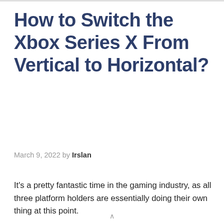How to Switch the Xbox Series X From Vertical to Horizontal?
March 9, 2022 by Irslan
It's a pretty fantastic time in the gaming industry, as all three platform holders are essentially doing their own thing at this point.